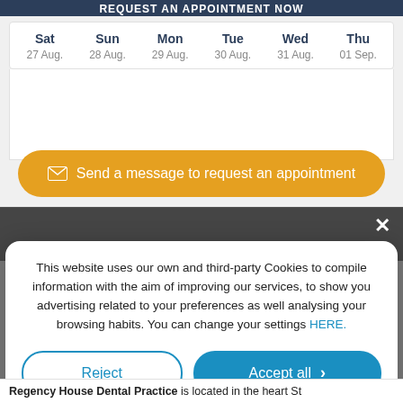[Figure (screenshot): Appointment booking calendar showing days Sat 27 Aug through Thu 01 Sep with empty time slots below]
Send a message to request an appointment
This website uses our own and third-party Cookies to compile information with the aim of improving our services, to show you advertising related to your preferences as well analysing your browsing habits. You can change your settings HERE.
Reject
Accept all
Custom configuration | Cookies Policy | Privacy Policy
Regency House Dental Practice is located in the heart St